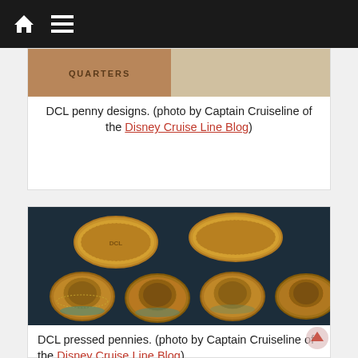Navigation bar with home and menu icons
[Figure (photo): Partial view of DCL penny designs display, showing edge of wooden frame with 'QUARTERS' text]
DCL penny designs. (photo by Captain Cruiseline of the Disney Cruise Line Blog)
[Figure (photo): Six pressed copper pennies against dark blue background: two oval coins in top row showing Disney characters, four oval coins in bottom row with Disney cruise ship designs and teal patina]
DCL pressed pennies. (photo by Captain Cruiseline of the Disney Cruise Line Blog)